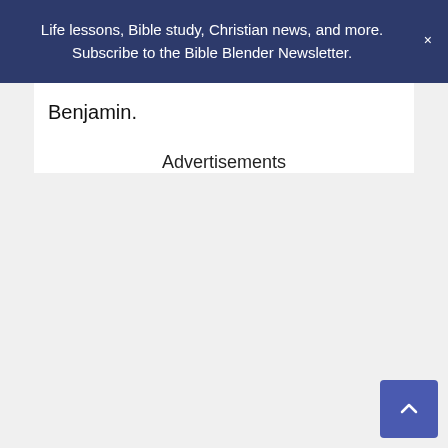Life lessons, Bible study, Christian news, and more. Subscribe to the Bible Blender Newsletter.
Benjamin.
Advertisements